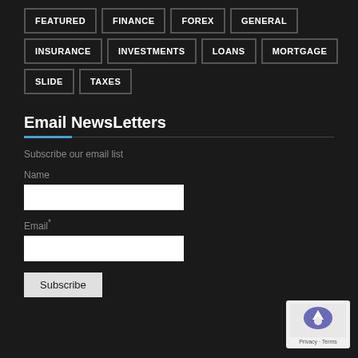FEATURED
FINANCE
FOREX
GENERAL
INSURANCE
INVESTMENTS
LOANS
MORTGAGE
SLIDE
TAXES
Email NewsLetters
Subscribe our email list
Name
Email*
Subscribe